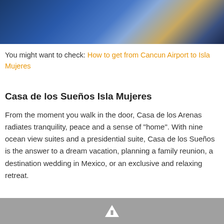[Figure (photo): Top portion of a photo showing people at what appears to be an outdoor venue with blue and gold tones, likely a swimming pool or water feature area.]
You might want to check: How to get from Cancun Airport to Isla Mujeres
Casa de los Sueños Isla Mujeres
From the moment you walk in the door, Casa de los Arenas radiates tranquility, peace and a sense of "home". With nine ocean view suites and a presidential suite, Casa de los Sueños is the answer to a dream vacation, planning a family reunion, a destination wedding in Mexico, or an exclusive and relaxing retreat.
[Figure (other): Gray bar at bottom with a white letter A icon, likely an advertisement or banner placeholder.]